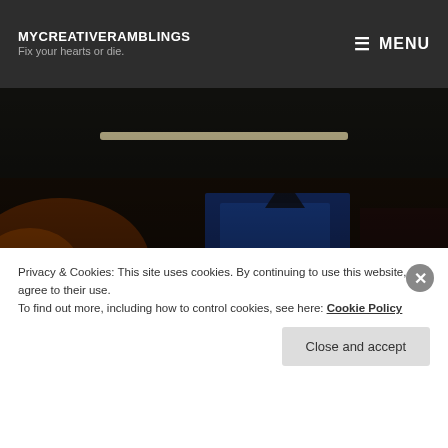MYCREATIVERAMBLINGS
Fix your hearts or die.
MENU
[Figure (photo): Dark theatrical scene with a performer standing in front of a blue backdrop on a dimly lit stage, orange accent lighting on the left, dark ambient surroundings.]
TRUE DETECTIVE – 'MAYBE TOMORROW' REVIEW
Privacy & Cookies: This site uses cookies. By continuing to use this website, you agree to their use.
To find out more, including how to control cookies, see here: Cookie Policy
Close and accept